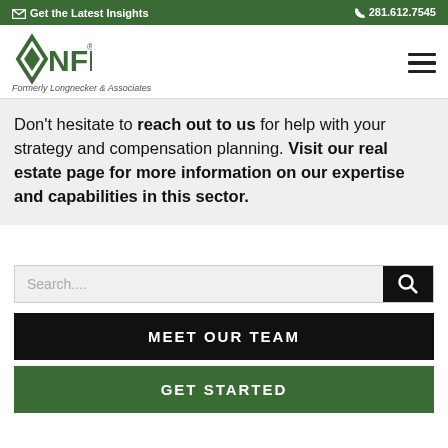Get the Latest Insights    281.612.7545
[Figure (logo): NFP logo with diamond/arrow icon, text NFP, subtitle Formerly Longnecker & Associates]
Don't hesitate to reach out to us for help with your strategy and compensation planning. Visit our real estate page for more information on our expertise and capabilities in this sector.
Search....
MEET OUR TEAM
GET STARTED